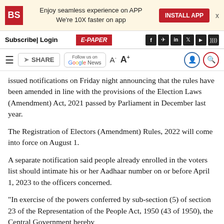BS | Enjoy seamless experience on APP We're 10X faster on app | INSTALL APP
Subscribe| Login | E-PAPER
SHARE | Follow us on Google News | A- A+
issued notifications on Friday night announcing that the rules have been amended in line with the provisions of the Election Laws (Amendment) Act, 2021 passed by Parliament in December last year.
The Registration of Electors (Amendment) Rules, 2022 will come into force on August 1.
A separate notification said people already enrolled in the voters list should intimate his or her Aadhaar number on or before April 1, 2023 to the officers concerned.
"In exercise of the powers conferred by sub-section (5) of section 23 of the Representation of the People Act, 1950 (43 of 1950), the Central Government hereby...